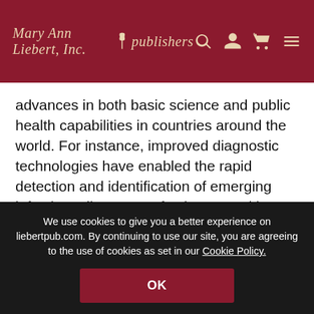Mary Ann Liebert, Inc. publishers
advances in both basic science and public health capabilities in countries around the world. For instance, improved diagnostic technologies have enabled the rapid detection and identification of emerging infectious diseases. Infection control has also improved, with a number of countries having developed biocontainment units to improve the ability to safely treat patients with highly infectious diseases.

Nonetheless, this new novel coronavirus
We use cookies to give you a better experience on liebertpub.com. By continuing to use our site, you are agreeing to the use of cookies as set in our Cookie Policy.
OK